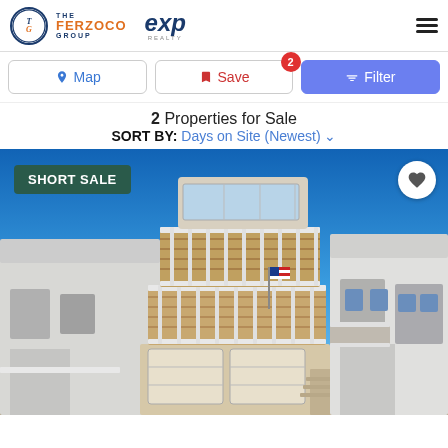The Ferzoco Group | eXp Realty
Map | Save (2) | Filter
2 Properties for Sale
SORT BY: Days on Site (Newest)
[Figure (photo): Exterior photo of a two-story coastal beach house with decks, white railings, two-car garage, and American flag, under a clear blue sky. A 'SHORT SALE' badge is overlaid on the top-left and a heart/favorite icon on the top-right.]